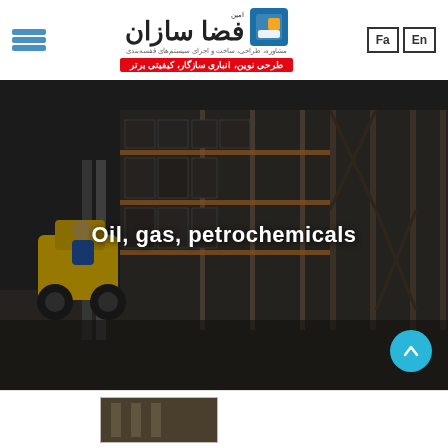[Figure (logo): Fazasazan Amin company logo with Persian text and blue/orange icon]
طرحی نوین، انباری سازگار، کیفیتی برتر
Fa | En (language toggle buttons)
[Figure (photo): Warehouse interior with a yellow forklift/reach truck driving between tall industrial shelving racks filled with goods, dimly lit industrial scene with overlay text]
Oil, gas, petrochemicals
[Figure (photo): Partial thumbnail image visible at bottom of page]